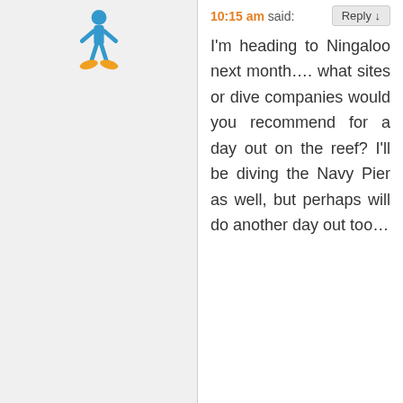10:15 am said:
I'm heading to Ningaloo next month.... what sites or dive companies would you recommend for a day out on the reef? I'll be diving the Navy Pier as well, but perhaps will do another day out too…
Luke on January 31, 2018 at 3:57 am said:
I went diving on a sail and diving liveaboard there in 2017. Awesome trip. It was great because it was a small group and they can edit all...